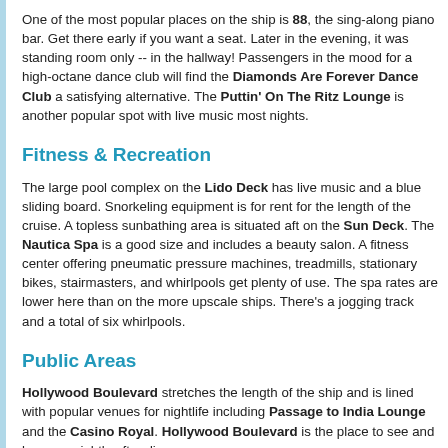One of the most popular places on the ship is 88, the sing-along piano bar. Get there early if you want a seat. Later in the evening, it was standing room only -- in the hallway! Passengers in the mood for a high-octane dance club will find the Diamonds Are Forever Dance Club a satisfying alternative. The Puttin' On The Ritz Lounge is another popular spot with live music most nights.
Fitness & Recreation
The large pool complex on the Lido Deck has live music and a blue sliding board. Snorkeling equipment is for rent for the length of the cruise. A topless sunbathing area is situated aft on the Sun Deck. The Nautica Spa is a good size and includes a beauty salon. A fitness center offering pneumatic pressure machines, treadmills, stationary bikes, stairmasters, and whirlpools get plenty of use. The spa rates are lower here than on the more upscale ships. There's a jogging track and a total of six whirlpools.
Public Areas
Hollywood Boulevard stretches the length of the ship and is lined with popular venues for nightlife including Passage to India Lounge and the Casino Royal. Hollywood Boulevard is the place to see and be seen nightly after dinner.
The $1 million art collection is displayed throughout the public areas but renditions of famous stars such as Marilyn Monroe, James Dean and